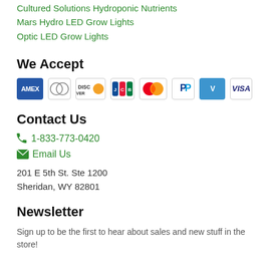Cultured Solutions Hydroponic Nutrients
Mars Hydro LED Grow Lights
Optic LED Grow Lights
We Accept
[Figure (illustration): Payment method icons: AMEX, Diners Club, Discover, JCB, Mastercard, PayPal, Venmo, Visa]
Contact Us
1-833-773-0420
Email Us
201 E 5th St. Ste 1200
Sheridan, WY 82801
Newsletter
Sign up to be the first to hear about sales and new stuff in the store!